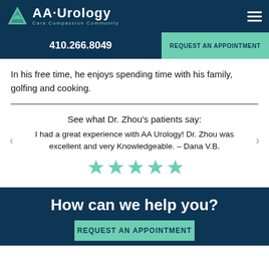AA Urology — Care Compassion Community
410.266.8049
REQUEST AN APPOINTMENT
In his free time, he enjoys spending time with his family, golfing and cooking.
See what Dr. Zhou's patients say:
I had a great experience with AA Urology! Dr. Zhou was excellent and very Knowledgeable. – Dana V.B.
[Figure (illustration): Five green star rating icons]
How can we help you?
REQUEST AN APPOINTMENT